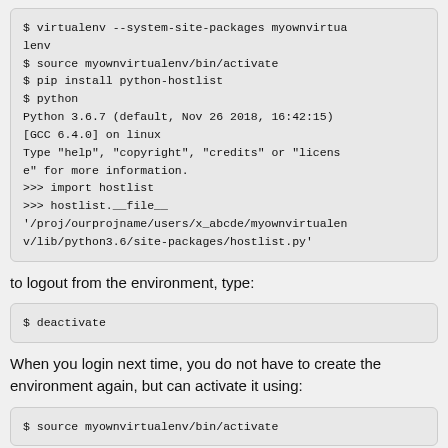$ virtualenv --system-site-packages myownvirtualenv
$ source myownvirtualenv/bin/activate
$ pip install python-hostlist
$ python
Python 3.6.7 (default, Nov 26 2018, 16:42:15)
[GCC 6.4.0] on linux
Type "help", "copyright", "credits" or "license" for more information.
>>> import hostlist
>>> hostlist.__file__
'/proj/ourprojname/users/x_abcde/myownvirtualenv/lib/python3.6/site-packages/hostlist.py'
to logout from the environment, type:
$ deactivate
When you login next time, you do not have to create the environment again, but can activate it using:
$ source myownvirtualenv/bin/activate